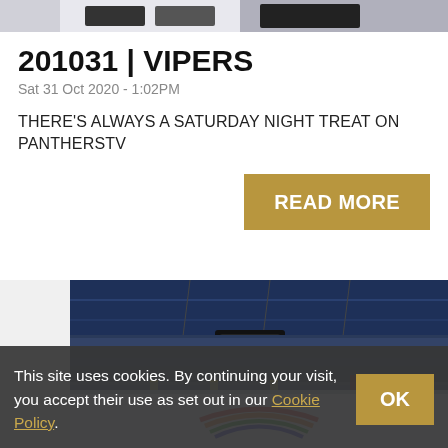[Figure (photo): Partial view of ice hockey players in white jerseys at the top of the page]
201031 | VIPERS
Sat 31 Oct 2020 - 1:02PM
THERE'S ALWAYS A SATURDAY NIGHT TREAT ON PANTHERSTV
READ MORE
[Figure (photo): Interior view of an ice hockey arena with colorful ice surface and seating visible]
This site uses cookies. By continuing your visit, you accept their use as set out in our Cookie Policy.
OK